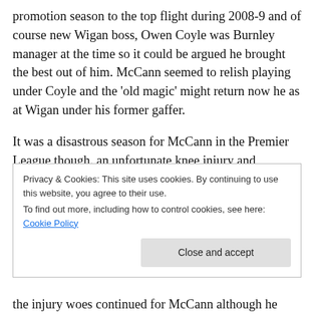promotion season to the top flight during 2008-9 and of course new Wigan boss, Owen Coyle was Burnley manager at the time so it could be argued he brought the best out of him. McCann seemed to relish playing under Coyle and the 'old magic' might return now he as at Wigan under his former gaffer.
It was a disastrous season for McCann in the Premier League though. an unfortunate knee injury and subsequent surgery to his cruciate following the game against Sunderland at Turf Moor in September 2009
Privacy & Cookies: This site uses cookies. By continuing to use this website, you agree to their use.
To find out more, including how to control cookies, see here: Cookie Policy
Close and accept
the injury woes continued for McCann although he